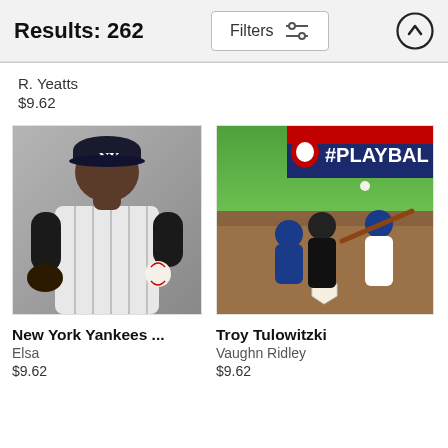Results: 262
R. Yeatts
$9.62
[Figure (photo): New York Yankees baseball player in pinstripe uniform holding a baseball, portrait photo by Elsa]
New York Yankees ...
Elsa
$9.62
[Figure (photo): Troy Tulowitzki batting during a baseball game with #PLAYBALL banner visible, photo by Vaughn Ridley]
Troy Tulowitzki
Vaughn Ridley
$9.62